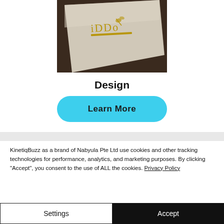[Figure (photo): Photo of a business card or paper with the iDDO logo embossed in gold, lying on a dark surface]
Design
Learn More
KinetiqBuzz as a brand of Nabyula Pte Ltd use cookies and other tracking technologies for performance, analytics, and marketing purposes. By clicking "Accept", you consent to the use of ALL the cookies. Privacy Policy
Settings
Accept